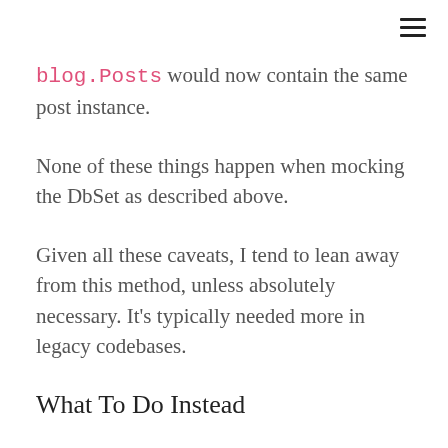≡
blog.Posts would now contain the same post instance.
None of these things happen when mocking the DbSet as described above.
Given all these caveats, I tend to lean away from this method, unless absolutely necessary. It's typically needed more in legacy codebases.
What To Do Instead
Don't Mock - Local Db LocalDb is your friend. This is installed with the .NET Framework and is